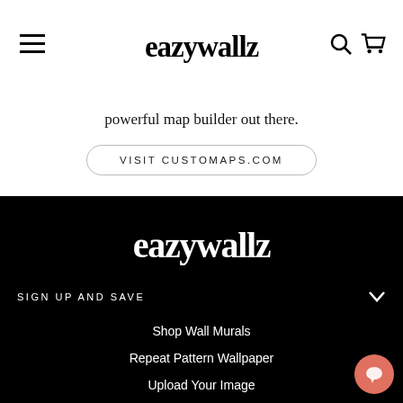eazywallz
powerful map builder out there.
VISIT CUSTOMAPS.COM
[Figure (logo): eazywallz script logo in white on black background]
SIGN UP AND SAVE
Shop Wall Murals
Repeat Pattern Wallpaper
Upload Your Image
Create a Collage